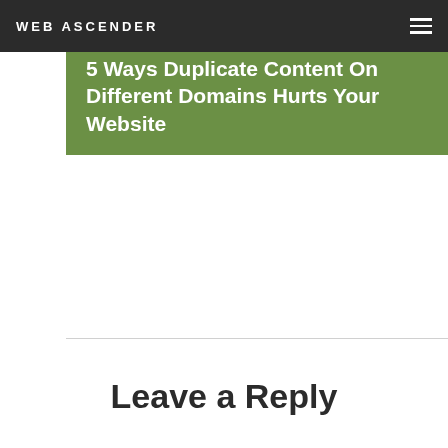WEB ASCENDER
5 Ways Duplicate Content On Different Domains Hurts Your Website
Leave a Reply